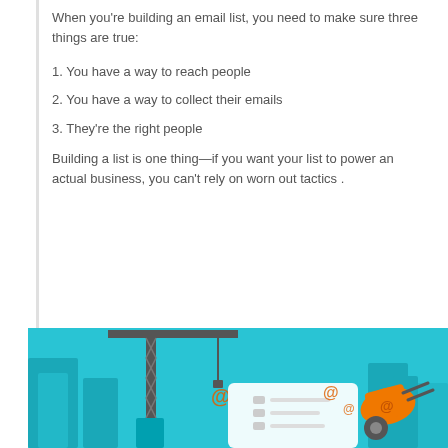When you're building an email list, you need to make sure three things are true:
1. You have a way to reach people
2. You have a way to collect their emails
3. They're the right people
Building a list is one thing—if you want your list to power an actual business, you can't rely on worn out tactics .
[Figure (illustration): Illustration of a construction crane holding email symbols over a form/email list, with an orange wheelbarrow and city buildings in the background on a cyan/blue background]